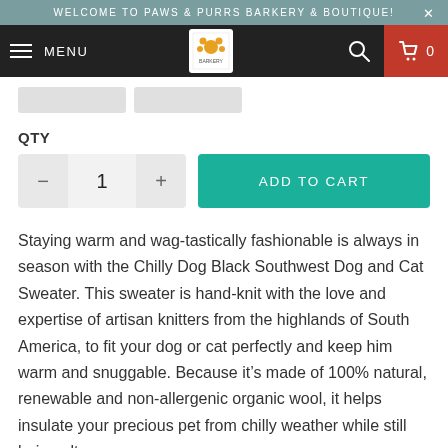WELCOME TO PAWS & PURRS BARKERY & BOUTIQUE!
[Figure (screenshot): Navigation bar with hamburger menu, MENU label, store logo, search icon, and cart icon with red background showing 0]
QTY
1  ADD TO CART
Staying warm and wag-tastically fashionable is always in season with the Chilly Dog Black Southwest Dog and Cat Sweater. This sweater is hand-knit with the love and expertise of artisan knitters from the highlands of South America, to fit your dog or cat perfectly and keep him warm and snuggable. Because it’s made of 100% natural, renewable and non-allergenic organic wool, it helps insulate your precious pet from chilly weather while still being ultra-